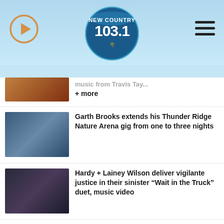[Figure (logo): New Country 103.1 radio station logo in circular badge style]
music from Travis Tay... + more
Garth Brooks extends his Thunder Ridge Nature Arena gig from one to three nights
Hardy + Lainey Wilson deliver vigilante justice in their sinister “Wait in the Truck” duet, music video
Dolly Parton is ringing in the holiday season with an ultimate deluxe edition of ‘A Holly Dolly…